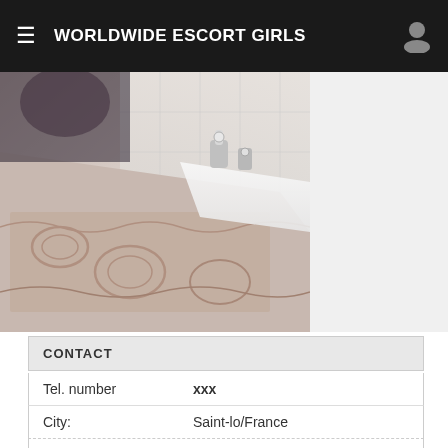WORLDWIDE ESCORT GIRLS
[Figure (photo): Blurred bathroom photo showing a bathtub with decorative carved surround and chrome faucet fittings]
CONTACT
| Tel. number | xxx |
| City: | Saint-lo/France |
| Last seen: | Today in 21:31 |
| Yesterday: | 06:34 |